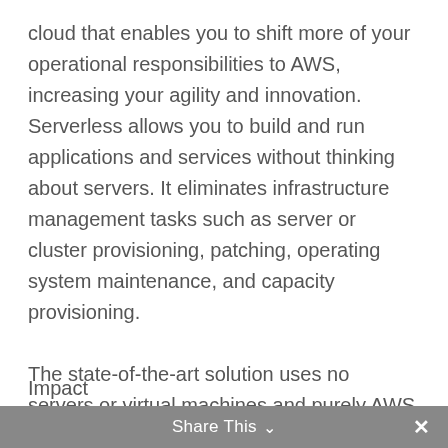cloud that enables you to shift more of your operational responsibilities to AWS, increasing your agility and innovation. Serverless allows you to build and run applications and services without thinking about servers. It eliminates infrastructure management tasks such as server or cluster provisioning, patching, operating system maintenance, and capacity provisioning.

The state-of-the-art solution uses no servers or virtual machines and purely AWS PaaS services to deliver a fully scalable and extendable solution with a much lower total cost of ownership.
Impact
Share This ∨  ×